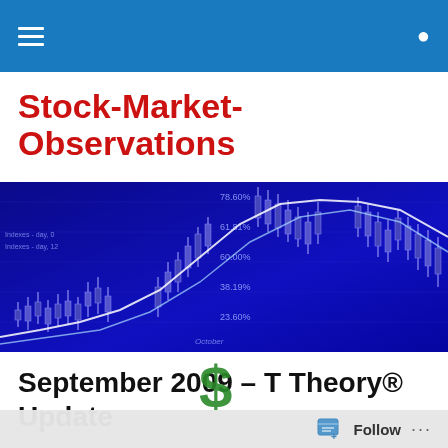Stock-Market-Observations
Stock-Market-Observations
[Figure (screenshot): Blue financial stock market chart banner showing candlestick charts, trend lines, and percentage labels (78.60%, 61.81%, 60.00%, 38.19%, 23.60%) on a dark blue background with glowing white chart lines and candlesticks]
September 2009 – T Theory® Update
[Figure (illustration): Partial view of a green dollar sign illustration at the bottom of the page]
Follow